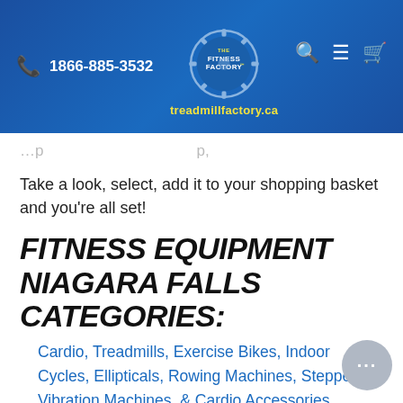1866-885-3532 | The Fitness Factory | treadmillfactory.ca
Take a look, select, add it to your shopping basket and you're all set!
FITNESS EQUIPMENT NIAGARA FALLS CATEGORIES:
Cardio, Treadmills, Exercise Bikes, Indoor Cycles, Ellipticals, Rowing Machines, Steppers, Vibration Machines, & Cardio Accessories.
Strength Machines, Racks & Cages, Functional Trainers, Home Gyms, Benches, Leverage Machines, Upper Body,